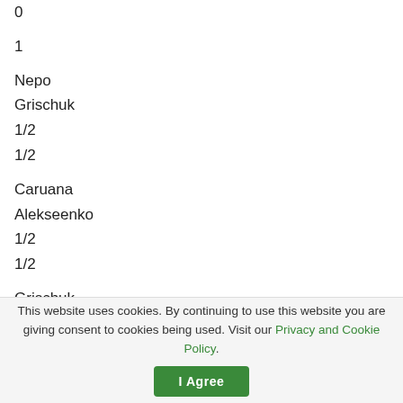0
1
Nepo
Grischuk
1/2
1/2
Caruana
Alekseenko
1/2
1/2
Grischuk
Alekseenko
This website uses cookies. By continuing to use this website you are giving consent to cookies being used. Visit our Privacy and Cookie Policy.